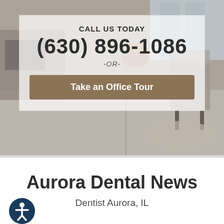[Figure (photo): Interior of a dental office waiting room with warm lighting, reception desk, flowers, and seating area visible. Semi-transparent white overlay box in center.]
CALL US TODAY
(630) 896-1086
-OR-
Take an Office Tour
Aurora Dental News
Dentist Aurora, IL